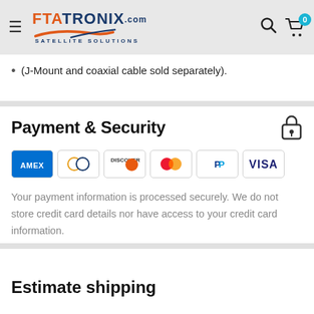FTATRONIX.com SATELLITE SOLUTIONS
(J-Mount and coaxial cable sold separately).
Payment & Security
[Figure (logo): Payment method icons: American Express, Diners Club, Discover, Mastercard, PayPal, Visa]
Your payment information is processed securely. We do not store credit card details nor have access to your credit card information.
Estimate shipping